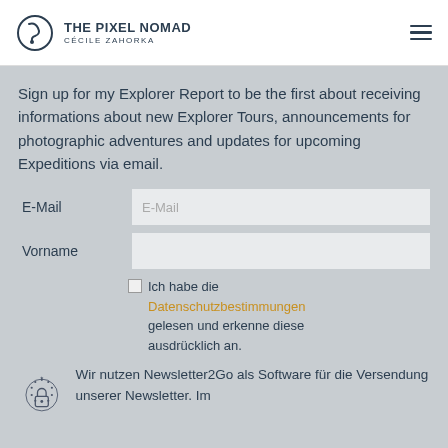THE PIXEL NOMAD — CÉCILE ZAHORKA
Sign up for my Explorer Report to be the first about receiving informations about new Explorer Tours, announcements for photographic adventures and updates for upcoming Expeditions via email.
E-Mail [input field] Vorname [input field]
Ich habe die Datenschutzbestimmungen gelesen und erkenne diese ausdrücklich an.
Wir nutzen Newsletter2Go als Software für die Versendung unserer Newsletter. Im